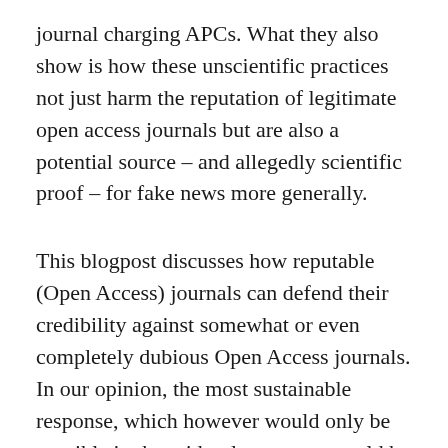journal charging APCs. What they also show is how these unscientific practices not just harm the reputation of legitimate open access journals but are also a potential source – and allegedly scientific proof – for fake news more generally.
This blogpost discusses how reputable (Open Access) journals can defend their credibility against somewhat or even completely dubious Open Access journals. In our opinion, the most sustainable response, which however would only be possible in the mid to long-term, would be to abandon author-pays business models altogether and switch to publication